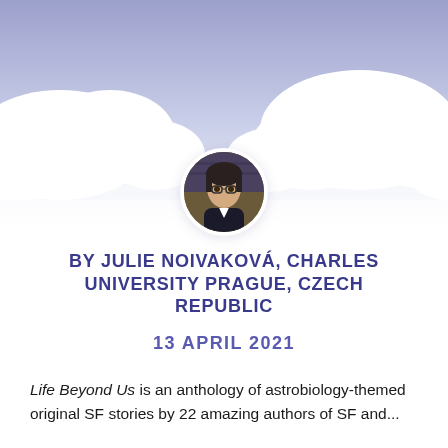[Figure (illustration): Stylized sky background with white clouds at the top of the page on a lavender/blue gradient background]
[Figure (photo): Circular portrait photo of Julie Noivaková, a person with glasses and dark hair wearing a dark jacket]
BY JULIE NOIVAKOVÁ, CHARLES UNIVERSITY PRAGUE, CZECH REPUBLIC
13 APRIL 2021
Life Beyond Us is an anthology of astrobiology-themed original SF stories by 22 amazing authors of SF and...